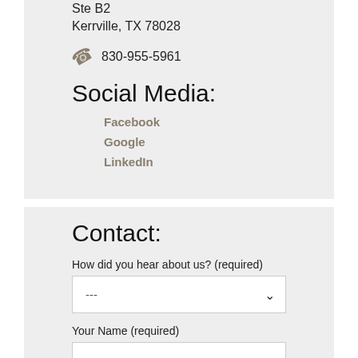Ste B2
Kerrville, TX 78028
830-955-5961
Social Media:
Facebook
Google
LinkedIn
Contact:
How did you hear about us? (required)
---
Your Name (required)